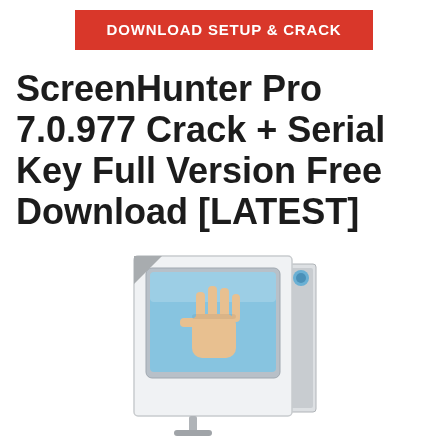[Figure (other): Red download button with white bold text 'DOWNLOAD SETUP & CRACK']
ScreenHunter Pro 7.0.977 Crack + Serial Key Full Version Free Download [LATEST]
[Figure (illustration): ScreenHunter Pro software box art showing a hand/stop icon on a blue background screen, white box packaging with product branding on the spine]